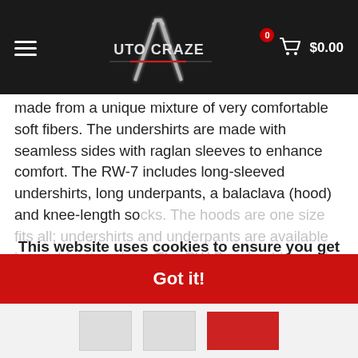[Figure (logo): Auto Craze website header with logo, hamburger menu, and cart icon showing $0.00]
made from a unique mixture of very comfortable soft fibers. The undershirts are made with seamless sides with raglan sleeves to enhance comfort. The RW-7 includes long-sleeved undershirts, long underpants, a balaclava (hood) and knee-length socks. The hoods are one size fits all; undershirts and underpants are available in combination sizes. The RW-7 undershirts and underpants are designed to fit close to the body due to the soft stretchable fabric. If you prefer a loose-fit please choose one size up. Socks are available in sizes from 38/39 to 46. RW- shirts and underpants are with Sparco's X-
This website uses cookies to ensure you get the best experience on our website.
Learn more
Got it!